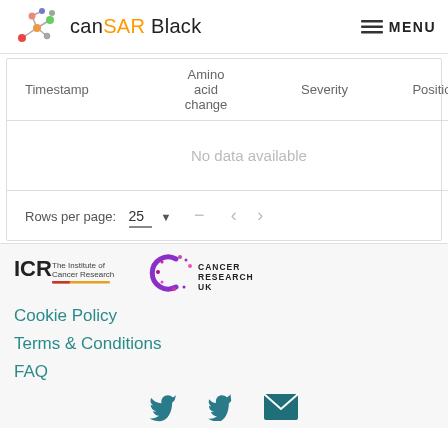canSAR Black  MENU
| Timestamp | Amino acid change | Severity | Position |
| --- | --- | --- | --- |
| No data available |
Rows per page: 25
[Figure (logo): ICR The Institute of Cancer Research logo]
[Figure (logo): Cancer Research UK logo]
Cookie Policy
Terms & Conditions
FAQ